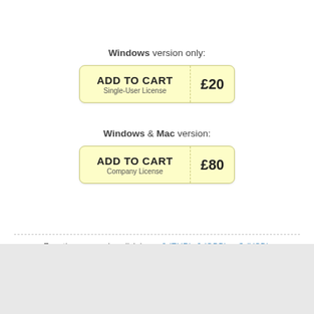Windows version only:
[Figure (other): Add to Cart button with price £20 for Single-User License]
Windows & Mac version:
[Figure (other): Add to Cart button with price £80 for Company License]
For other currencies click here: € (EUR), £ (GBP) or $ (USD).